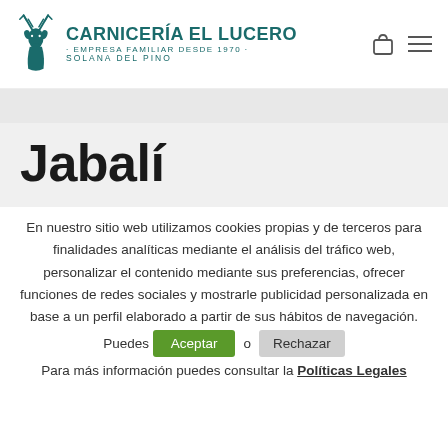[Figure (logo): Carnicería El Lucero logo with deer illustration and teal text]
Jabalí
En nuestro sitio web utilizamos cookies propias y de terceros para finalidades analíticas mediante el análisis del tráfico web, personalizar el contenido mediante sus preferencias, ofrecer funciones de redes sociales y mostrarle publicidad personalizada en base a un perfil elaborado a partir de sus hábitos de navegación. Puedes [Aceptar] o [Rechazar]. Para más información puedes consultar la Políticas Legales